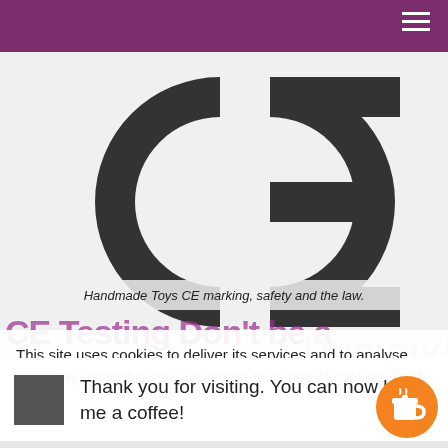[Figure (photo): Large CE mark letters in dark grey on light background — Conformité Européenne logo]
Handmade Toys CE marking, safety and the law.
CE Testing Don't be a Dummy!
This site uses cookies to deliver its services and to analyse traffic. By using this site, you agree to its use of cookies. Learn more
Thank you for visiting. You can now buy me a coffee!